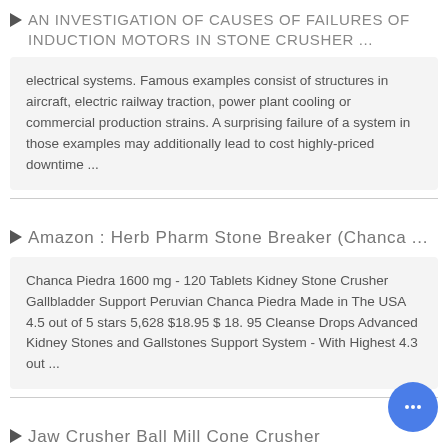AN INVESTIGATION OF CAUSES OF FAILURES OF INDUCTION MOTORS IN STONE CRUSHER ...
electrical systems. Famous examples consist of structures in aircraft, electric railway traction, power plant cooling or commercial production strains. A surprising failure of a system in those examples may additionally lead to cost highly-priced downtime ...
Amazon : Herb Pharm Stone Breaker (Chanca ...
Chanca Piedra 1600 mg - 120 Tablets Kidney Stone Crusher Gallbladder Support Peruvian Chanca Piedra Made in The USA 4.5 out of 5 stars 5,628 $18.95 $ 18. 95 Cleanse Drops Advanced Kidney Stones and Gallstones Support System - With Highest 4.3 out ...
Jaw Crusher Ball Mill Cone Crusher